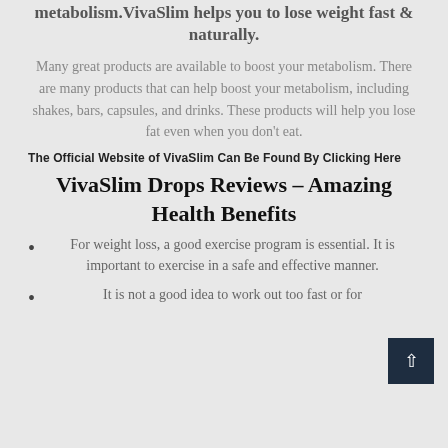metabolism.VivaSlim helps you to lose weight fast & naturally.
Many great products are available to boost your metabolism. There are many products that can help boost your metabolism, including shakes, bars, capsules, and drinks. These products will help you lose fat even when you don't eat.
The Official Website of VivaSlim Can Be Found By Clicking Here
VivaSlim Drops Reviews – Amazing Health Benefits
For weight loss, a good exercise program is essential. It is important to exercise in a safe and effective manner.
It is not a good idea to work out too fast or for